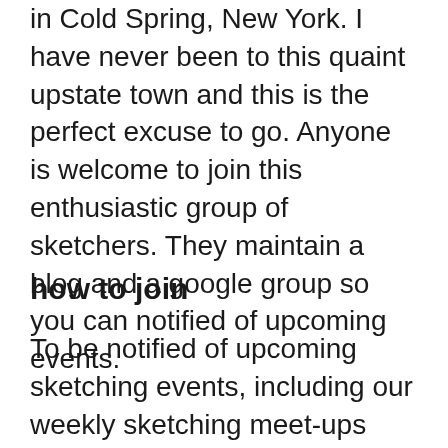in Cold Spring, New York. I have never been to this quaint upstate town and this is the perfect excuse to go. Anyone is welcome to join this enthusiastic group of sketchers. They maintain a blog and a google group so you can notified of upcoming events.
how to join
To be notified of upcoming sketching events, including our weekly sketching meet-ups and World Wide Sketchcrawls, join Urban Sketchers NYC Google...